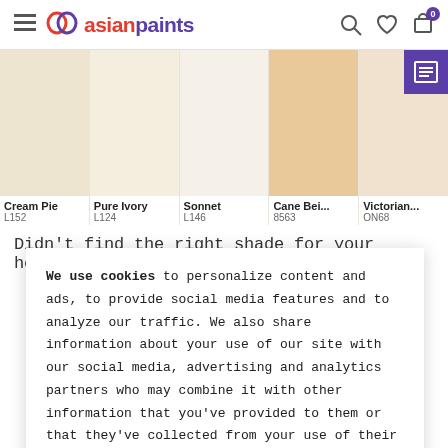Asian Paints website header with logo, hamburger menu, search, wishlist, and cart icons
[Figure (illustration): Five paint color swatches: Cream Pie L152, Pure Ivory L124, Sonnet L146, Cane Beige 8563, Victorian... ON68, with a purple icon box on the last swatch]
Didn't find the right shade for your home? We have
We use cookies to personalize content and ads, to provide social media features and to analyze our traffic. We also share information about your use of our site with our social media, advertising and analytics partners who may combine it with other information that you've provided to them or that they've collected from your use of their services. You consent to our cookies if you continue to use our website. To know more about our cookie policy, please click here.
I UNDERSTAND